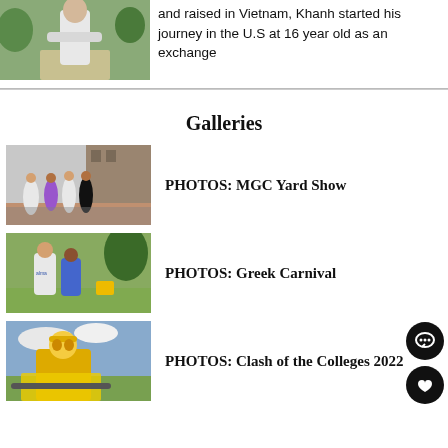[Figure (photo): Photo of person with arms crossed on a campus path]
and raised in Vietnam, Khanh started his journey in the U.S at 16 year old as an exchange
Galleries
[Figure (photo): Students performing at MGC Yard Show on campus]
PHOTOS: MGC Yard Show
[Figure (photo): Students running outdoors at Greek Carnival event]
PHOTOS: Greek Carnival
[Figure (photo): Student with yellow face paint and headband at Clash of the Colleges 2022]
PHOTOS: Clash of the Colleges 2022